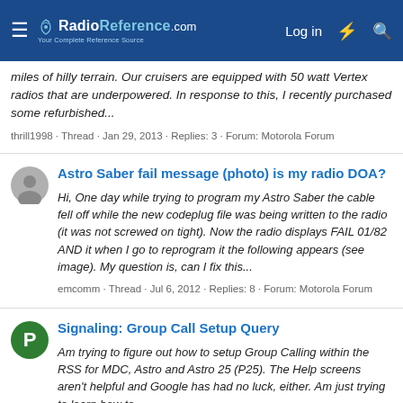RadioReference.com — Log in
miles of hilly terrain. Our cruisers are equipped with 50 watt Vertex radios that are underpowered. In response to this, I recently purchased some refurbished...
thrill1998 · Thread · Jan 29, 2013 · Replies: 3 · Forum: Motorola Forum
Astro Saber fail message (photo) is my radio DOA?
Hi, One day while trying to program my Astro Saber the cable fell off while the new codeplug file was being written to the radio (it was not screwed on tight). Now the radio displays FAIL 01/82 AND it when I go to reprogram it the following appears (see image). My question is, can I fix this...
emcomm · Thread · Jul 6, 2012 · Replies: 8 · Forum: Motorola Forum
Signaling: Group Call Setup Query
Am trying to figure out how to setup Group Calling within the RSS for MDC, Astro and Astro 25 (P25). The Help screens aren't helpful and Google has had no luck, either. Am just trying to learn how to